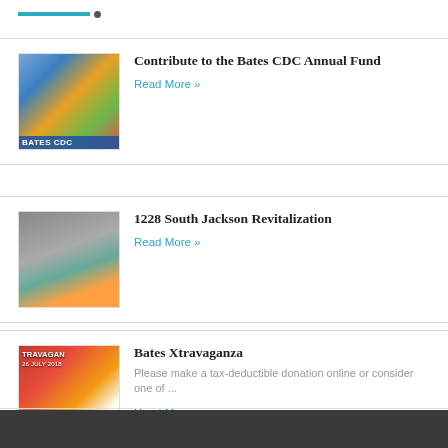[Figure (illustration): Decorative header bar with blue line and dot]
[Figure (photo): Bates CDC thumbnail image with colorful grid and logo]
Contribute to the Bates CDC Annual Fund
Read More »
[Figure (photo): 1228 South Jackson Revitalization thumbnail with people working]
1228 South Jackson Revitalization
Read More »
[Figure (photo): Bates Xtravaganza event photo thumbnail]
Bates Xtravaganza
Please make a tax-deductible donation online or consider one of ...
Read More »